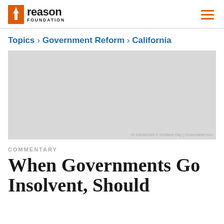Reason Foundation
Topics › Government Reform › California
[Figure (photo): Photograph placeholder image, light gray background. Caption: ID 168343165 © Svetlana Day | Dreamstime.com]
ID 168343165 © Svetlana Day | Dreamstime.com
COMMENTARY
When Governments Go Insolvent, Should...